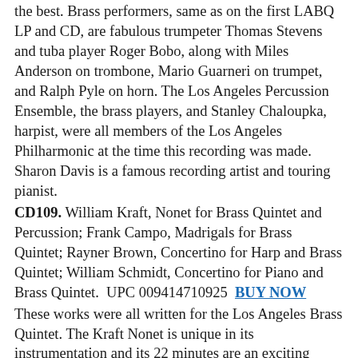the best. Brass performers, same as on the first LABQ LP and CD, are fabulous trumpeter Thomas Stevens and tuba player Roger Bobo, along with Miles Anderson on trombone, Mario Guarneri on trumpet, and Ralph Pyle on horn. The Los Angeles Percussion Ensemble, the brass players, and Stanley Chaloupka, harpist, were all members of the Los Angeles Philharmonic at the time this recording was made. Sharon Davis is a famous recording artist and touring pianist.
CD109. William Kraft, Nonet for Brass Quintet and Percussion; Frank Campo, Madrigals for Brass Quintet; Rayner Brown, Concertino for Harp and Brass Quintet; William Schmidt, Concertino for Piano and Brass Quintet.  UPC 009414710925  BUY NOW
These works were all written for the Los Angeles Brass Quintet. The Kraft Nonet is unique in its instrumentation and its 22 minutes are an exciting listening experience. Rayner Brown was Dean and State Chairman of the American Guild of Organists. He wrote a wonderfully listenable piece for this recording. William Schmidt is well known for his hundreds of works for brass and